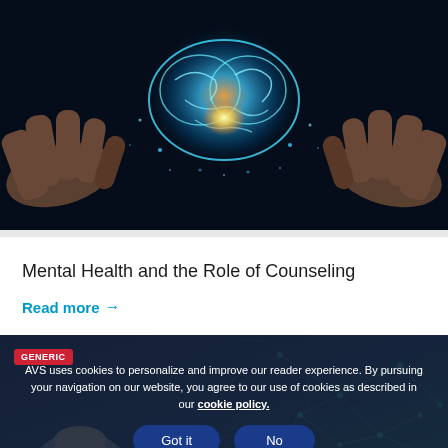[Figure (photo): Hands cupping a glowing neon brain illustration against a dark background, with light particles]
Mental Health and the Role of Counseling
Read more →
[Figure (screenshot): Website section with cookie consent overlay showing 'Got it' and 'No' buttons, with a GENERIC tag in red, over a dark teal background with network graphics and a man's portrait in a circle]
AVS uses cookies to personalize and improve our reader experience. By pursuing your navigation on our website, you agree to our use of cookies as described in our cookie policy.